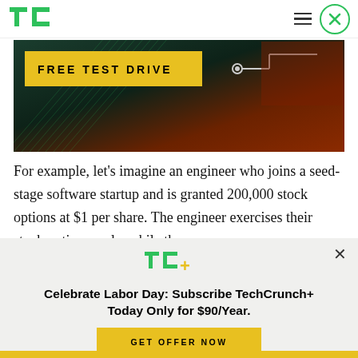TechCrunch navigation bar with TC logo, hamburger menu, and close button
[Figure (screenshot): Advertisement banner with dark green/brown background showing 'FREE TEST DRIVE' text in yellow box with circuit line graphic]
For example, let's imagine an engineer who joins a seed-stage software startup and is granted 200,000 stock options at $1 per share. The engineer exercises their stock options early, while the
[Figure (screenshot): TechCrunch+ subscription overlay with TC+ logo, headline 'Celebrate Labor Day: Subscribe TechCrunch+ Today Only for $90/Year.' and GET OFFER NOW button]